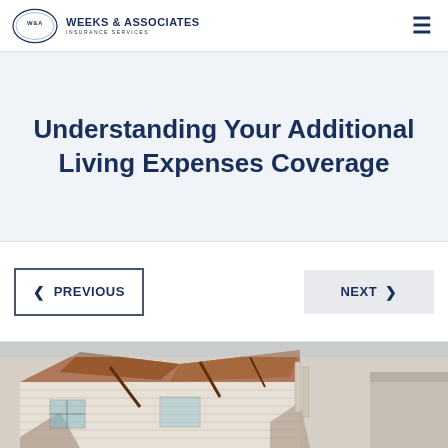Weeks & Associates Insurance Services
Understanding Your Additional Living Expenses Coverage
< PREVIOUS | NEXT >
[Figure (photo): Photo of a damaged house with collapsed roof and broken siding, taken from exterior angle]